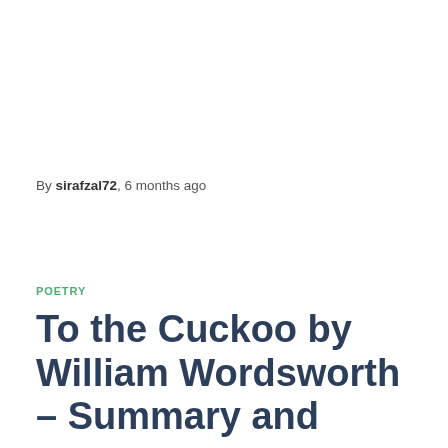By sirafzal72, 6 months ago
POETRY
To the Cuckoo by William Wordsworth – Summary and